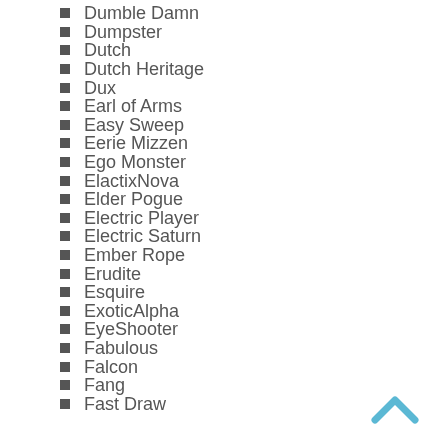Dumble Damn
Dumpster
Dutch
Dutch Heritage
Dux
Earl of Arms
Easy Sweep
Eerie Mizzen
Ego Monster
ElactixNova
Elder Pogue
Electric Player
Electric Saturn
Ember Rope
Erudite
Esquire
ExoticAlpha
EyeShooter
Fabulous
Falcon
Fang
Fast Draw